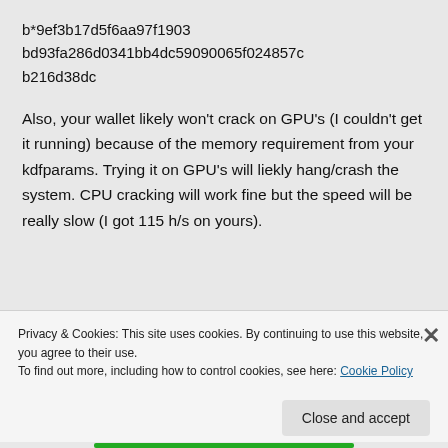b*9ef3b17d5f6aa97f1903bd93fa286d0341bb4dc59090065f024857cb216d38dc
Also, your wallet likely won’t crack on GPU’s (I couldn’t get it running) because of the memory requirement from your kdfparams. Trying it on GPU’s will liekly hang/crash the system. CPU cracking will work fine but the speed will be really slow (I got 115 h/s on yours).
Privacy & Cookies: This site uses cookies. By continuing to use this website, you agree to their use.
To find out more, including how to control cookies, see here: Cookie Policy
Close and accept